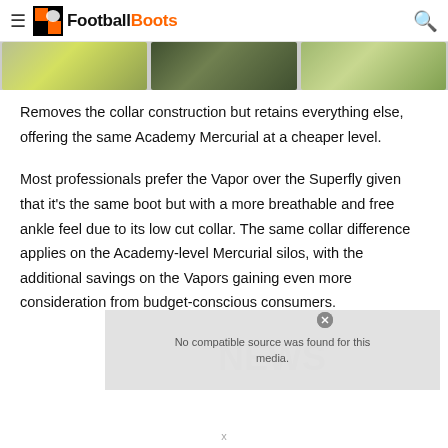Football Boots
[Figure (photo): Partial image strip showing football boot product images cropped at top]
Removes the collar construction but retains everything else, offering the same Academy Mercurial at a cheaper level.
Most professionals prefer the Vapor over the Superfly given that it's the same boot but with a more breathable and free ankle feel due to its low cut collar. The same collar difference applies on the Academy-level Mercurial silos, with the additional savings on the Vapors gaining even more consideration from budget-conscious consumers.
[Figure (screenshot): No compatible source was found for this media error overlay]
x